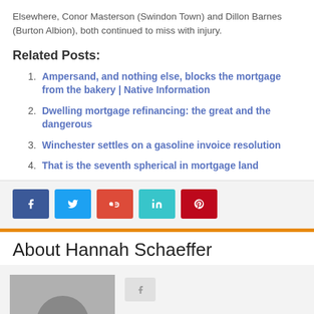Elsewhere, Conor Masterson (Swindon Town) and Dillon Barnes (Burton Albion), both continued to miss with injury.
Related Posts:
Ampersand, and nothing else, blocks the mortgage from the bakery | Native Information
Dwelling mortgage refinancing: the great and the dangerous
Winchester settles on a gasoline invoice resolution
That is the seventh spherical in mortgage land
[Figure (other): Social share buttons: Facebook, Twitter, Google+, LinkedIn, Pinterest]
About Hannah Schaeffer
[Figure (photo): Author avatar placeholder with a silhouette icon, a small grey button, and an orange floating action button]